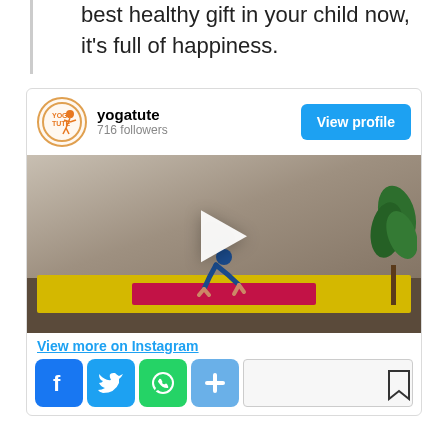best healthy gift in your child now, it's full of happiness.
[Figure (screenshot): Instagram embed card for 'yogatute' account with 716 followers, showing a video thumbnail of a child doing yoga (downward dog pose) on a yellow and pink mat. Includes a 'View profile' button and 'View more on Instagram' link, plus social share buttons for Facebook, Twitter, WhatsApp, and more.]